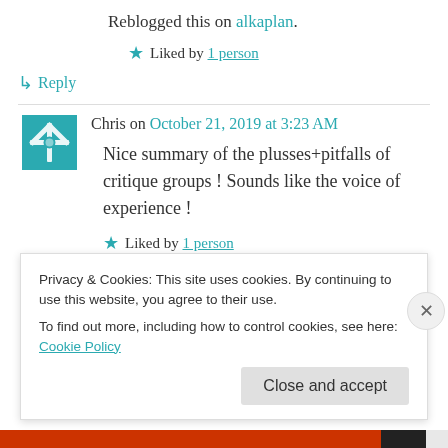Reblogged this on alkaplan.
★ Liked by 1 person
↳ Reply
Chris on October 21, 2019 at 3:23 AM
Nice summary of the plusses+pitfalls of critique groups ! Sounds like the voice of experience !
★ Liked by 1 person
Privacy & Cookies: This site uses cookies. By continuing to use this website, you agree to their use. To find out more, including how to control cookies, see here: Cookie Policy
Close and accept